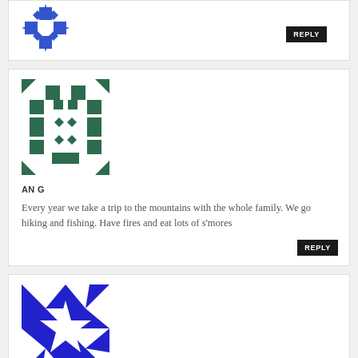[Figure (illustration): Blue geometric quilt-pattern avatar (partial, top of page)]
[Figure (illustration): Dark green geometric pixel-art style avatar for AN G]
AN G
Every year we take a trip to the mountains with the whole family. We go hiking and fishing. Have fires and eat lots of s'mores
[Figure (illustration): Blue and white star/pinwheel geometric avatar for SARA C]
SARA C